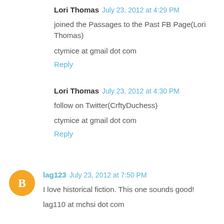Lori Thomas  July 23, 2012 at 4:29 PM
joined the Passages to the Past FB Page(Lori Thomas)
ctymice at gmail dot com
Reply
Lori Thomas  July 23, 2012 at 4:30 PM
follow on Twitter(CrftyDuchess)
ctymice at gmail dot com
Reply
lag123  July 23, 2012 at 7:50 PM
I love historical fiction. This one sounds good!
lag110 at mchsi dot com